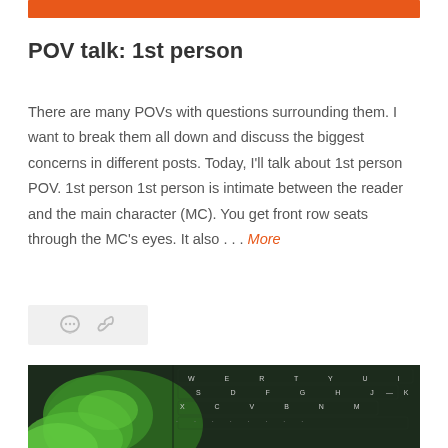[Figure (other): Orange horizontal banner bar at top of page]
POV talk: 1st person
There are many POVs with questions surrounding them. I want to break them all down and discuss the biggest concerns in different posts. Today, I'll talk about 1st person POV. 1st person 1st person is intimate between the reader and the main character (MC). You get front row seats through the MC's eyes. It also . . . More
[Figure (other): Comment and link share icons in a light grey bar]
[Figure (photo): Green leaf resting on a dark keyboard, close-up photo]